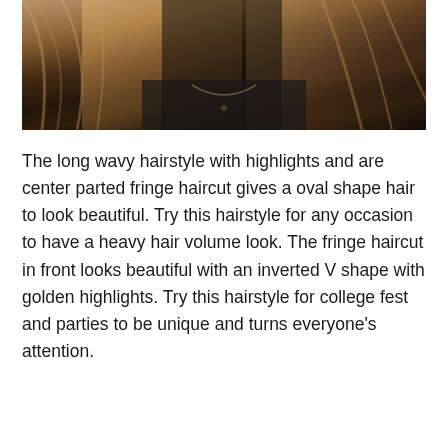[Figure (photo): Close-up photo of a person with long wavy highlighted hair, center parted, wearing a dark jacket, with a necklace visible.]
The long wavy hairstyle with highlights and are center parted fringe haircut gives a oval shape hair to look beautiful. Try this hairstyle for any occasion to have a heavy hair volume look. The fringe haircut in front looks beautiful with an inverted V shape with golden highlights. Try this hairstyle for college fest and parties to be unique and turns everyone's attention.